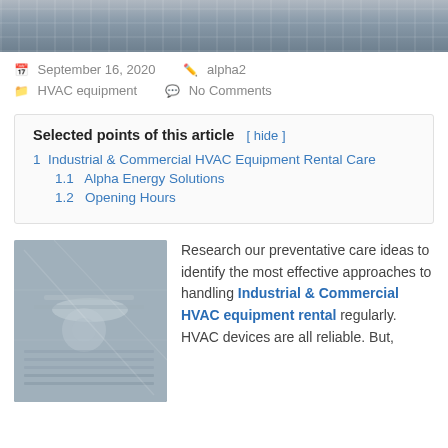[Figure (photo): Aerial/rooftop HVAC equipment photo, top cropped portion]
September 16, 2020   alpha2
HVAC equipment   No Comments
Selected points of this article [ hide ]
1  Industrial & Commercial HVAC Equipment Rental Care
1.1  Alpha Energy Solutions
1.2  Opening Hours
[Figure (photo): Rooftop HVAC industrial/commercial cooling equipment with metal framework]
Research our preventative care ideas to identify the most effective approaches to handling Industrial & Commercial HVAC equipment rental regularly. HVAC devices are all reliable. But,